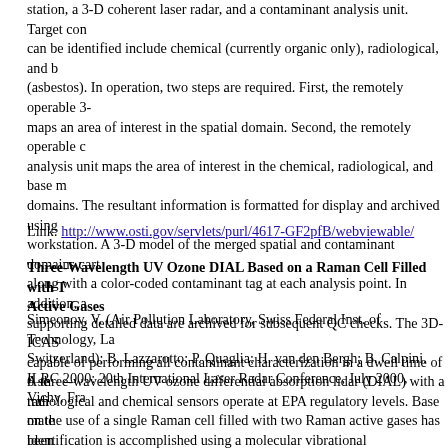station, a 3-D coherent laser radar, and a contaminant analysis unit. Target con can be identified include chemical (currently organic only), radiological, and b (asbestos). In operation, two steps are required. First, the remotely operable 3- maps an area of interest in the spatial domain. Second, the remotely operable c analysis unit maps the area of interest in the chemical, radiological, and base m domains. The resultant information is formatted for display and archived using workstation. A 3-D model of the merged spatial and contaminant domains cart along with a color-coded contaminant tag at each analysis point. In addition, a supporting detailed data are archived for subsequent QC checks. The 3D-ICAS capable of performing all contaminant characterization in a dwell time of 6 se radiological and chemical sensors operate at EPA regulatory levels. Base mate identification is accomplished using a molecular vibrational spectroscopy, whi materials such as asbestos, concrete, wood, or transite. The multipurpose sense positioned robotically using a small CRS Robotics A465 arm, which is registe environment map by the 3-D laser radar.
Link: http://www.osti.gov/servlets/purl/4617-GF2pfB/webviewable/
Three-Wavelength UV Ozone DIAL Based on a Raman Cell Filled with T Active Gases
Simeonov, V. (Air Pollution Laboratory, Swiss Federal Inst. of Technology, La Switzerland); B. Lazzarotto; P. Quaglia; H. van den Bergh; B. Calpini. ILRC 2000: 20th International Laser Radar Conference, July 2000, Vichy, Fra
A three-wavelength UV ozone differential absorption lidar (DIAL) with a tran on the use of a single Raman cell filled with two Raman active gases has been The cell is filled with a mixture of hydrogen and deuterium as active gases ane buffer gas, and pumped with the fourth harmonic of a Nd:YAG laser. The bea identical spatial intensity distribution and identical temporal and power profile